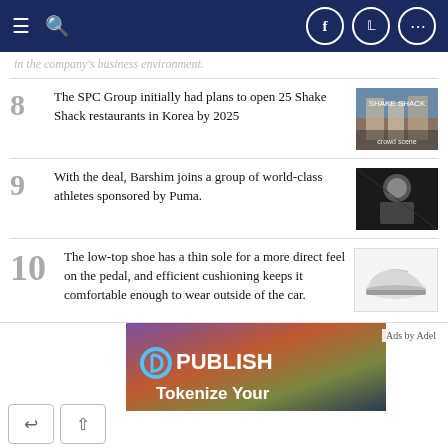Navigation bar with hamburger menu, search, Facebook, Twitter, and more icons
in the company's business environment.
8 The SPC Group initially had plans to open 25 Shake Shack restaurants in Korea by 2025
9 With the deal, Barshim joins a group of world-class athletes sponsored by Puma.
10 The low-top shoe has a thin sole for a more direct feel on the pedal, and efficient cushioning keeps it comfortable enough to wear outside of the car.
[Figure (infographic): Advertisement banner: PUBLISH - Tokenize Your [content continues below]]